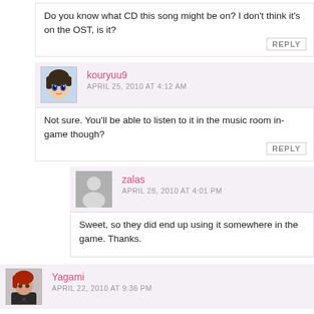Do you know what CD this song might be on? I don't think it's on the OST, is it?
REPLY
kouryuu9
APRIL 25, 2010 AT 4:12 AM
Not sure. You'll be able to listen to it in the music room in-game though?
REPLY
zalas
APRIL 28, 2010 AT 4:01 PM
Sweet, so they did end up using it somewhere in the game. Thanks.
Yagami
APRIL 22, 2010 AT 9:36 PM